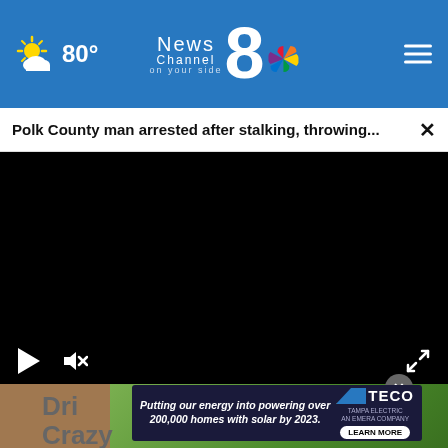News Channel 8 on your side — 80°
Polk County man arrested after stalking, throwing...
[Figure (screenshot): Black video player with play button and mute/expand controls at bottom]
[Figure (photo): Outdoor photo with green foliage and brown walkway]
Dri... ke Crazy
[Figure (other): TECO Tampa Electric advertisement: Putting our energy into powering over 200,000 homes with solar by 2023. LEARN MORE]